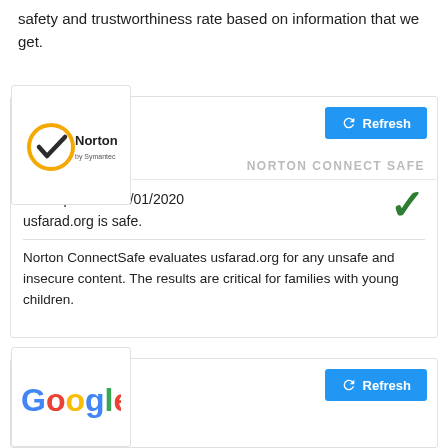safety and trustworthiness rate based on information that we get.
[Figure (logo): Norton by Symantec logo - gold/black checkmark in circle with 'Norton by Symantec' text]
NORTON CONNECT SAFE
Last Updated: 04/01/2020
usfarad.org is safe.
Norton ConnectSafe evaluates usfarad.org for any unsafe and insecure content. The results are critical for families with young children.
[Figure (logo): Google logo]